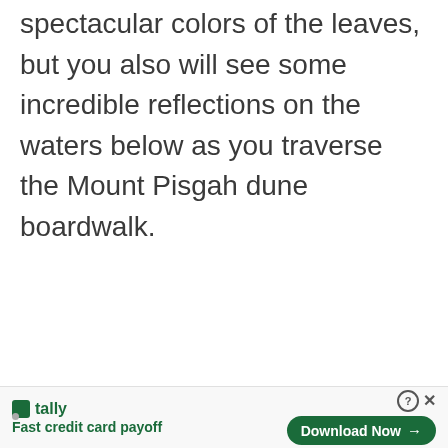spectacular colors of the leaves, but you also will see some incredible reflections on the waters below as you traverse the Mount Pisgah dune boardwalk.
[Figure (other): Advertisement banner for Tally app with 'Fast credit card payoff' tagline and a 'Download Now' button]